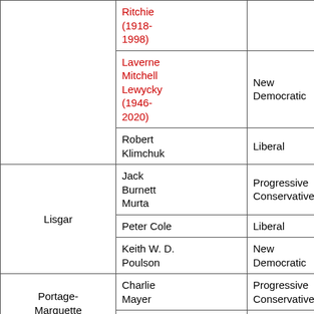| Riding | MP | Party |
| --- | --- | --- |
|  | Ritchie (1918-1998) |  |
|  | Laverne Mitchell Lewycky (1946-2020) | New Democratic |
|  | Robert Klimchuk | Liberal |
| Lisgar | Jack Burnett Murta | Progressive Conservative |
|  | Peter Cole | Liberal |
|  | Keith W. D. Poulson | New Democratic |
| Portage-Marquette | Charlie Mayer | Progressive Conservative |
|  | Maude | New |